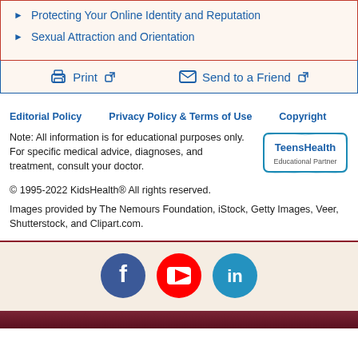Protecting Your Online Identity and Reputation
Sexual Attraction and Orientation
Print   Send to a Friend
Editorial Policy   Privacy Policy & Terms of Use   Copyright
Note: All information is for educational purposes only. For specific medical advice, diagnoses, and treatment, consult your doctor.
© 1995-2022 KidsHealth® All rights reserved.
Images provided by The Nemours Foundation, iStock, Getty Images, Veer, Shutterstock, and Clipart.com.
[Figure (logo): TeensHealth Educational Partner logo]
[Figure (infographic): Social media icons: Facebook (blue circle), YouTube (red circle with play button), LinkedIn (teal circle)]